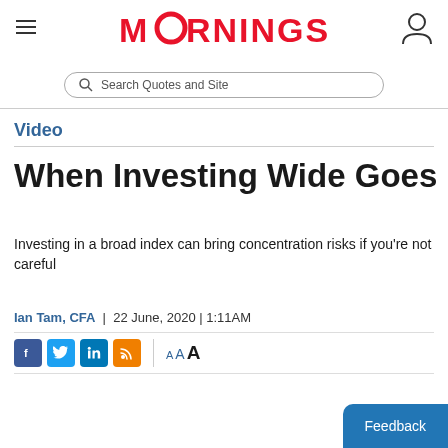MORNINGSTAR — Search Quotes and Site
Video
When Investing Wide Goes Narrow
Investing in a broad index can bring concentration risks if you're not careful
Ian Tam, CFA | 22 June, 2020 | 1:11AM
AAA (font size controls and social share icons)
Feedback